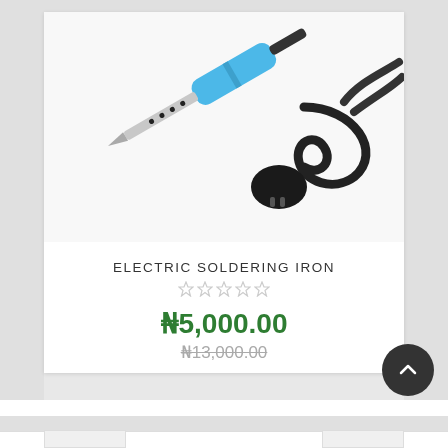[Figure (photo): Photo of a blue electric soldering iron with a pointed metal tip and a black power cord with plug, on white background.]
ELECTRIC SOLDERING IRON
₦5,000.00
₦13,000.00